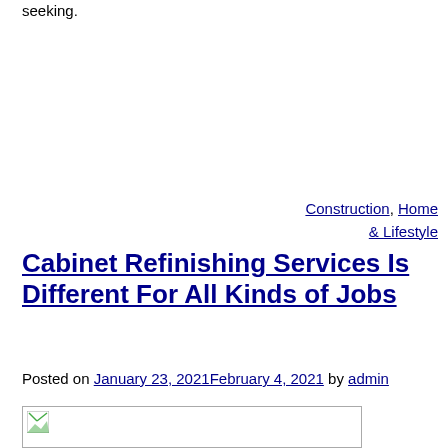seeking.
Construction, Home & Lifestyle
Cabinet Refinishing Services Is Different For All Kinds of Jobs
Posted on January 23, 2021February 4, 2021 by admin
[Figure (photo): Image placeholder with broken image icon]